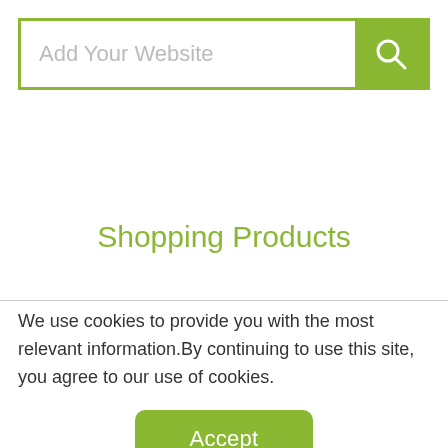[Figure (screenshot): Search bar with placeholder text 'Add Your Website' and a green search button with magnifying glass icon on the right]
Shopping Products
We use cookies to provide you with the most relevant information.By continuing to use this site, you agree to our use of cookies.
[Figure (other): Green Accept button]